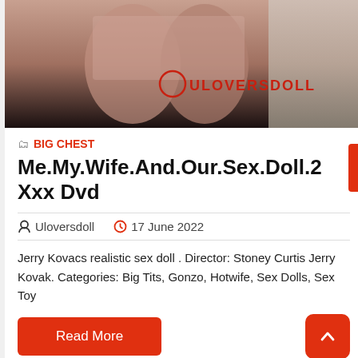[Figure (photo): Photo showing legs with lace stockings and fur, with ULOVERSDOLL watermark overlay]
BIG CHEST
Me.My.Wife.And.Our.Sex.Doll.2 Xxx Dvd
Uloversdoll   17 June 2022
Jerry Kovacs realistic sex doll . Director: Stoney Curtis Jerry Kovak. Categories: Big Tits, Gonzo, Hotwife, Sex Dolls, Sex Toy
Read More
[Figure (photo): Partial photo at bottom of page]